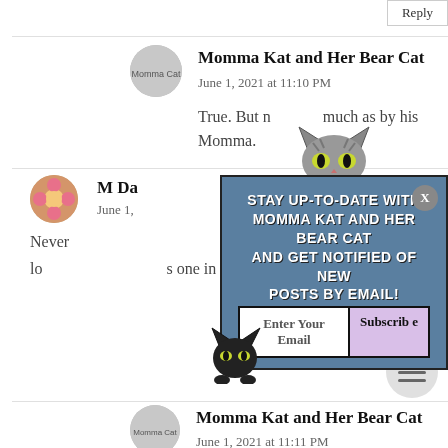Reply
Momma Kat and Her Bear Cat
June 1, 2021 at 11:10 PM
True. But n[cat image]much as by his Momma.
M Da[obscured by popup]
June 1, [obscured]
Never[obscured]s Mum are not lo[obscured]s one in a millio[obscured]
[Figure (infographic): Email subscription popup overlay with cat illustrations. Text reads: STAY UP-TO-DATE WITH MOMMA KAT AND HER BEAR CAT AND GET NOTIFIED OF NEW POSTS BY EMAIL! With Enter Your Email input and Subscribe button. Close X button top right. Gray cat peeking from top, black cat bottom left.]
Momma Kat and Her Bear Cat
June 1, 2021 at 11:11 PM